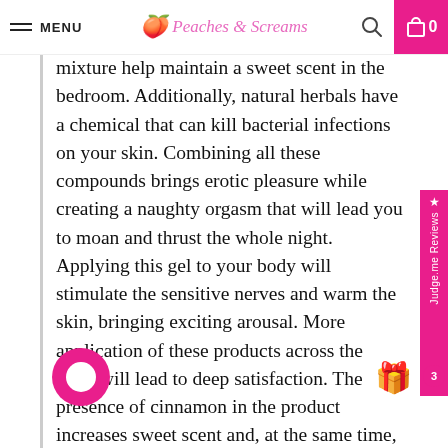MENU | Peaches & Screams | 🔍 | 🛒 0
mixture help maintain a sweet scent in the bedroom. Additionally, natural herbals have a chemical that can kill bacterial infections on your skin. Combining all these compounds brings erotic pleasure while creating a naughty orgasm that will lead you to moan and thrust the whole night. Applying this gel to your body will stimulate the sensitive nerves and warm the skin, bringing exciting arousal. More application of these products across the body will lead to deep satisfaction. The presence of cinnamon in the product increases sweet scent and, at the same time, leads to heating of the sexual senses. However, an increase in arousal warming leads to an increased sensation, results in orgasm. This product is available in a 30ml bottle and is made for females. This device helps to take away all your sexual cravings. Ensure